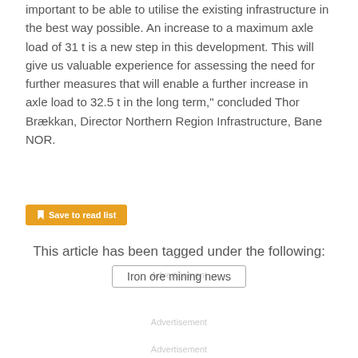important to be able to utilise the existing infrastructure in the best way possible. An increase to a maximum axle load of 31 t is a new step in this development. This will give us valuable experience for assessing the need for further measures that will enable a further increase in axle load to 32.5 t in the long term," concluded Thor Brækkan, Director Northern Region Infrastructure, Bane NOR.
Save to read list
Advertisement
This article has been tagged under the following:
Iron ore mining news
Advertisement
Advertisement